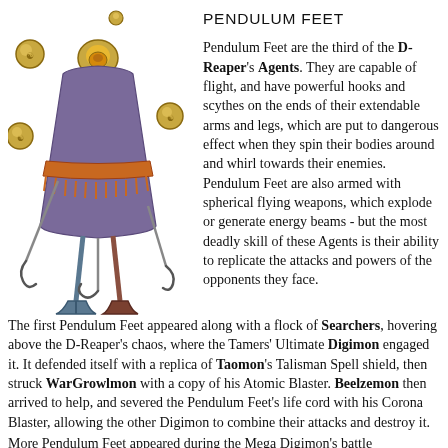[Figure (illustration): Illustration of Pendulum Feet, a D-Reaper Agent: a cloaked creature with an orange-fringed robe, hooks and scythes on extendable arms and legs, and spherical flying weapons orbiting around it.]
PENDULUM FEET
Pendulum Feet are the third of the D-Reaper's Agents. They are capable of flight, and have powerful hooks and scythes on the ends of their extendable arms and legs, which are put to dangerous effect when they spin their bodies around and whirl towards their enemies. Pendulum Feet are also armed with spherical flying weapons, which explode or generate energy beams - but the most deadly skill of these Agents is their ability to replicate the attacks and powers of the opponents they face.
The first Pendulum Feet appeared along with a flock of Searchers, hovering above the D-Reaper's chaos, where the Tamers' Ultimate Digimon engaged it. It defended itself with a replica of Taomon's Talisman Spell shield, then struck WarGrowlmon with a copy of his Atomic Blaster. Beelzemon then arrived to help, and severed the Pendulum Feet's life cord with his Corona Blaster, allowing the other Digimon to combine their attacks and destroy it.
More Pendulum Feet appeared during the Mega Digimon's battle